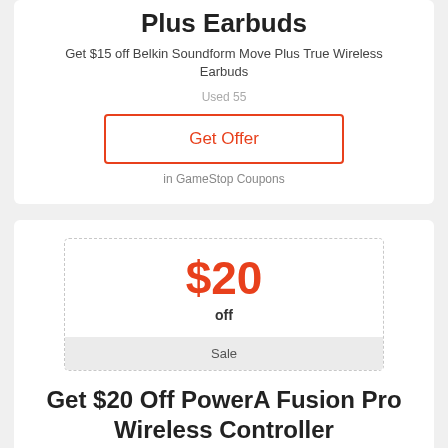Plus Earbuds
Get $15 off Belkin Soundform Move Plus True Wireless Earbuds
Used 55
Get Offer
in GameStop Coupons
$20
off
Sale
Get $20 Off PowerA Fusion Pro Wireless Controller